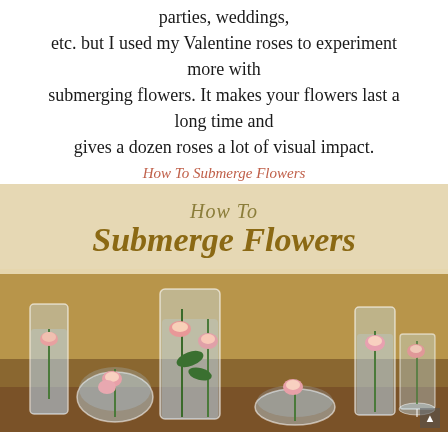parties, weddings, etc. but I used my Valentine roses to experiment more with submerging flowers. It makes your flowers last a long time and gives a dozen roses a lot of visual impact.
How To Submerge Flowers
[Figure (photo): Photo showing multiple glass vases of different shapes filled with water and pink/white roses submerged inside, arranged on a wooden table. A decorative title overlay reads 'How To Submerge Flowers' in gold script.]